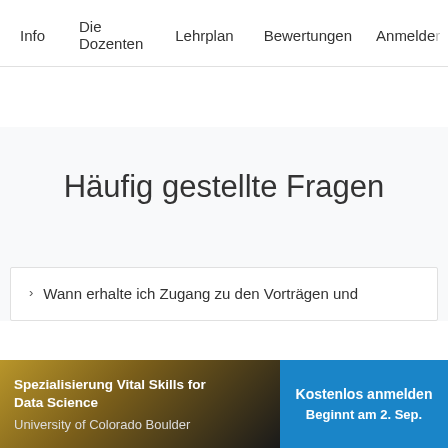Info   Die Dozenten   Lehrplan   Bewertungen   Anmelden
Häufig gestellte Fragen
Wann erhalte ich Zugang zu den Vorträgen und
Spezialisierung Vital Skills for Data Science
University of Colorado Boulder
Kostenlos anmelden
Beginnt am 2. Sep.